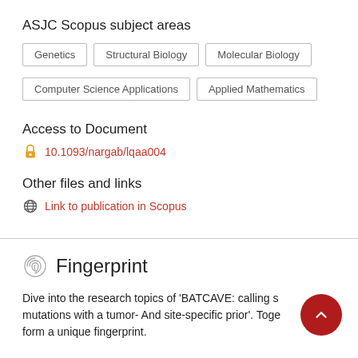ASJC Scopus subject areas
Genetics
Structural Biology
Molecular Biology
Computer Science Applications
Applied Mathematics
Access to Document
10.1093/nargab/lqaa004
Other files and links
Link to publication in Scopus
Fingerprint
Dive into the research topics of 'BATCAVE: calling somatic mutations with a tumor- And site-specific prior'. Together they form a unique fingerprint.